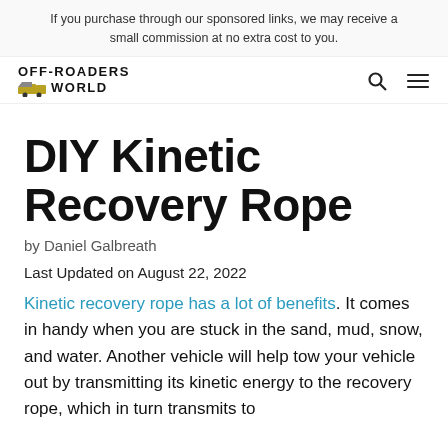If you purchase through our sponsored links, we may receive a small commission at no extra cost to you.
[Figure (logo): Off-Roaders World logo with truck icon]
DIY Kinetic Recovery Rope
by Daniel Galbreath
Last Updated on August 22, 2022
Kinetic recovery rope has a lot of benefits. It comes in handy when you are stuck in the sand, mud, snow, and water. Another vehicle will help tow your vehicle out by transmitting its kinetic energy to the recovery rope, which in turn transmits to